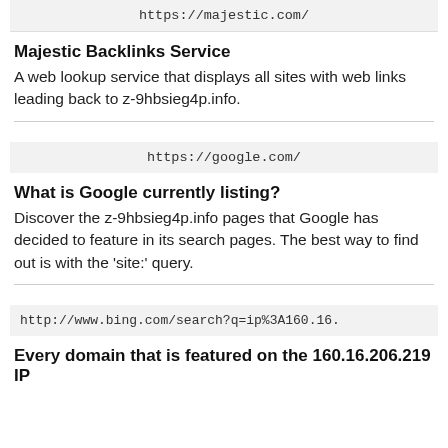https://majestic.com/
Majestic Backlinks Service
A web lookup service that displays all sites with web links leading back to z-9hbsieg4p.info.
https://google.com/
What is Google currently listing?
Discover the z-9hbsieg4p.info pages that Google has decided to feature in its search pages. The best way to find out is with the 'site:' query.
http://www.bing.com/search?q=ip%3A160.16.
Every domain that is featured on the 160.16.206.219 IP